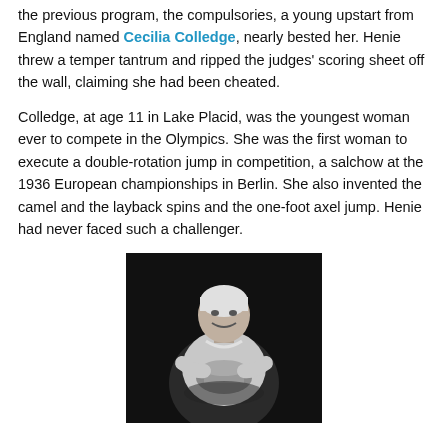the previous program, the compulsories, a young upstart from England named Cecilia Colledge, nearly bested her. Henie threw a temper tantrum and ripped the judges' scoring sheet off the wall, claiming she had been cheated.
Colledge, at age 11 in Lake Placid, was the youngest woman ever to compete in the Olympics. She was the first woman to execute a double-rotation jump in competition, a salchow at the 1936 European championships in Berlin. She also invented the camel and the layback spins and the one-foot axel jump. Henie had never faced such a challenger.
[Figure (photo): Black and white photograph of Cecilia Colledge, a young woman wearing a white outfit and head covering, smiling and holding a trophy bowl.]